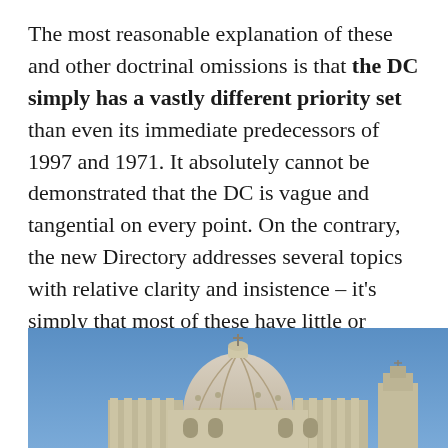The most reasonable explanation of these and other doctrinal omissions is that the DC simply has a vastly different priority set than even its immediate predecessors of 1997 and 1971. It absolutely cannot be demonstrated that the DC is vague and tangential on every point. On the contrary, the new Directory addresses several topics with relative clarity and insistence – it's simply that most of these have little or nothing to do with the Catholic faith or its inculcation.
[Figure (photo): Photograph of St. Peter's Basilica dome in Rome against a blue sky, cropped to show the upper portion of the dome and surrounding architecture.]